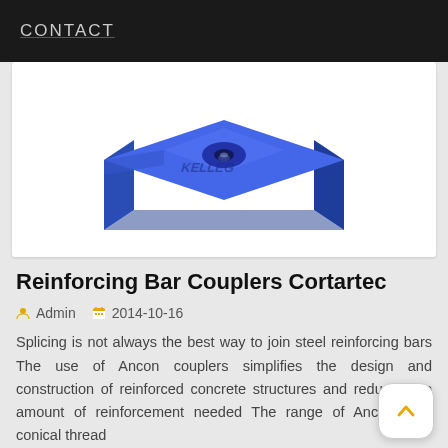CONTACT
[Figure (photo): 3D render of a blue square bearing plate with a central conical hole, branded with 'KELLEG' text on its surface.]
Reinforcing Bar Couplers Cortartec
Admin   2014-10-16
Splicing is not always the best way to join steel reinforcing bars The use of Ancon couplers simplifies the design and construction of reinforced concrete structures and reduces the amount of reinforcement needed The range of Ancon CTT conical thread